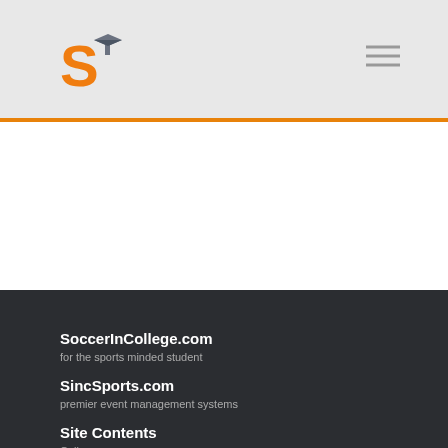[Figure (logo): SoccerInCollege logo with orange S and graduation cap]
[Figure (other): Hamburger menu icon with three horizontal lines]
[Figure (other): Curved wave divider between white and dark sections]
SoccerInCollege.com
for the sports minded student
SincSports.com
premier event management systems
Site Contents
Colleges